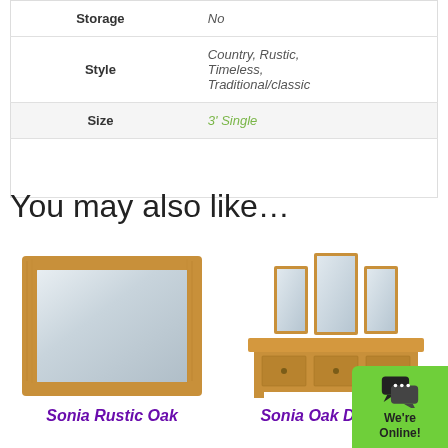|  |  |
| --- | --- |
| Storage | No |
| Style | Country, Rustic, Timeless, Traditional/classic |
| Size | 3' Single |
You may also like…
[Figure (photo): Sonia Rustic Oak wall mirror with natural oak frame]
Sonia Rustic Oak
[Figure (photo): Sonia Oak Dressing table with triple mirror and three drawers]
Sonia Oak Dressing